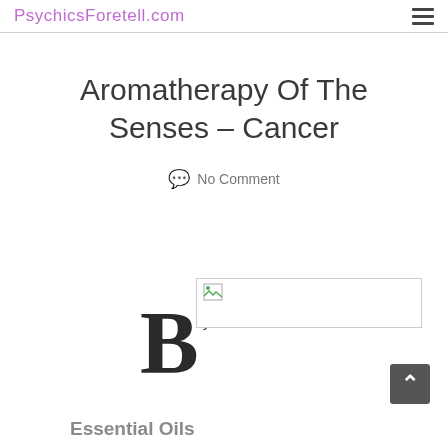PsychicsForetell.com
Aromatherapy Of The Senses – Cancer
💬 No Comment
By: Ann
[Figure (photo): Broken image placeholder with small icon]
[Figure (other): Scroll-to-top button with upward arrow]
Essential Oils